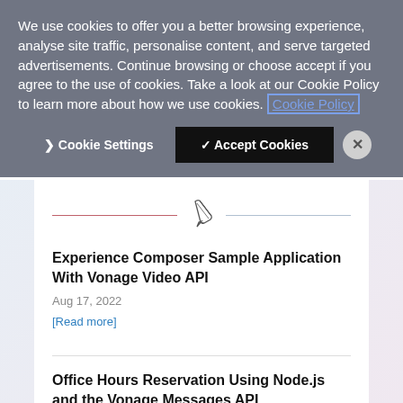We use cookies to offer you a better browsing experience, analyse site traffic, personalise content, and serve targeted advertisements. Continue browsing or choose accept if you agree to the use of cookies. Take a look at our Cookie Policy to learn more about how we use cookies. Cookie Policy
> Cookie Settings  ✓ Accept Cookies  ✕
[Figure (illustration): Decorative pen/nib icon centered between two horizontal lines (left line in dark pink/crimson, right line in light blue-gray)]
Experience Composer Sample Application With Vonage Video API
Aug 17, 2022
[Read more]
Office Hours Reservation Using Node.js and the Vonage Messages API
Aug 16, 2022